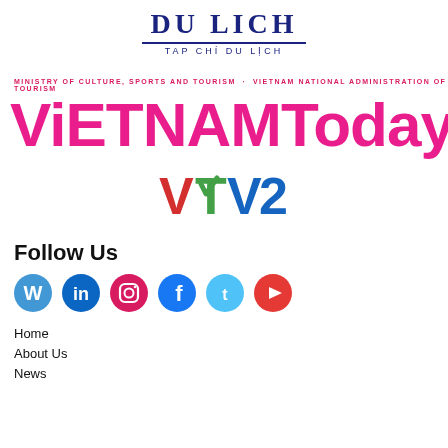[Figure (logo): Du Lich - Tap Chi Du Lich logo in dark blue serif font with underline]
[Figure (logo): VIETNAMToday logo in magenta/pink with ministry text above]
[Figure (logo): VTV2 logo with red V, green checkmark, blue TV2 text]
Follow Us
[Figure (infographic): Six social media icons: WordPress (blue), LinkedIn (dark blue), Instagram (pink), Facebook (blue), Twitter (light blue), YouTube (red)]
Home
About Us
News